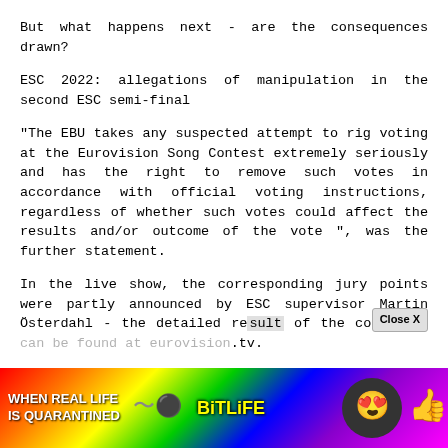But what happens next - are the consequences drawn?
ESC 2022: allegations of manipulation in the second ESC semi-final
"The EBU takes any suspected attempt to rig voting at the Eurovision Song Contest extremely seriously and has the right to remove such votes in accordance with official voting instructions, regardless of whether such votes could affect the results and/or outcome of the vote ", was the further statement.
In the live show, the corresponding jury points were partly announced by ESC supervisor Martin Österdahl - the detailed result of the countries can be found at eurovision.tv.
[Figure (screenshot): Advertisement overlay at bottom of page: colorful rainbow background with text 'WHEN REAL LIFE IS QUARANTINED' and 'BitLife' logo with emoji icons. Also shows a 'Close X' button and help/close icons.]